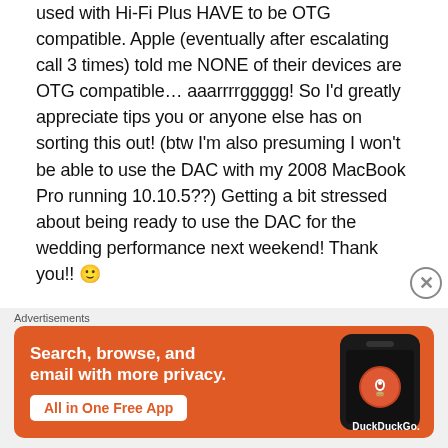used with Hi-Fi Plus HAVE to be OTG compatible. Apple (eventually after escalating call 3 times) told me NONE of their devices are OTG compatible… aaarrrrggggg! So I'd greatly appreciate tips you or anyone else has on sorting this out! (btw I'm also presuming I won't be able to use the DAC with my 2008 MacBook Pro running 10.10.5??) Getting a bit stressed about being ready to use the DAC for the wedding performance next weekend! Thank you!! 🙂
[Figure (other): DuckDuckGo advertisement banner: orange background with white text 'Search, browse, and email with more privacy.' and 'All in One Free App' button. Right side shows a smartphone mockup with DuckDuckGo logo and branding.]